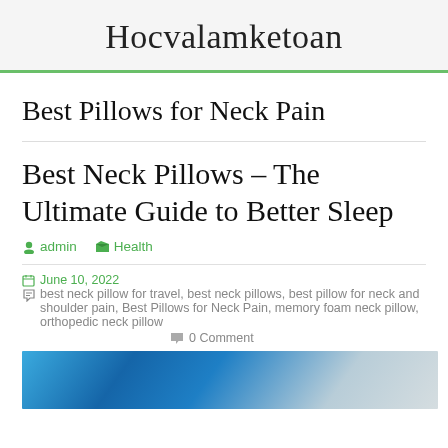Hocvalamketoan
Best Pillows for Neck Pain
Best Neck Pillows – The Ultimate Guide to Better Sleep
admin   Health
June 10, 2022   best neck pillow for travel, best neck pillows, best pillow for neck and shoulder pain, Best Pillows for Neck Pain, memory foam neck pillow, orthopedic neck pillow   0 Comment
[Figure (photo): Blue neck pillow product photo]